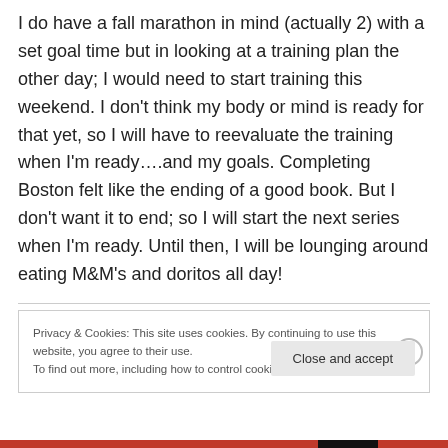I do have a fall marathon in mind (actually 2) with a set goal time but in looking at a training plan the other day; I would need to start training this weekend. I don't think my body or mind is ready for that yet, so I will have to reevaluate the training when I'm ready….and my goals. Completing Boston felt like the ending of a good book. But I don't want it to end; so I will start the next series when I'm ready. Until then, I will be lounging around eating M&M's and doritos all day!
Privacy & Cookies: This site uses cookies. By continuing to use this website, you agree to their use.
To find out more, including how to control cookies, see here: Cookie Policy